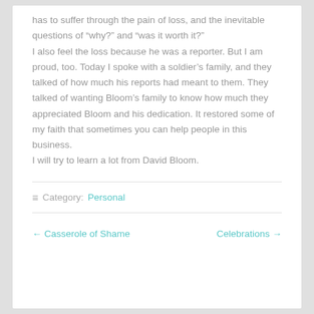has to suffer through the pain of loss, and the inevitable questions of "why?" and "was it worth it?"
I also feel the loss because he was a reporter. But I am proud, too. Today I spoke with a soldier's family, and they talked of how much his reports had meant to them. They talked of wanting Bloom's family to know how much they appreciated Bloom and his dedication. It restored some of my faith that sometimes you can help people in this business.
I will try to learn a lot from David Bloom.
≡ Category: Personal
← Casserole of Shame    Celebrations →